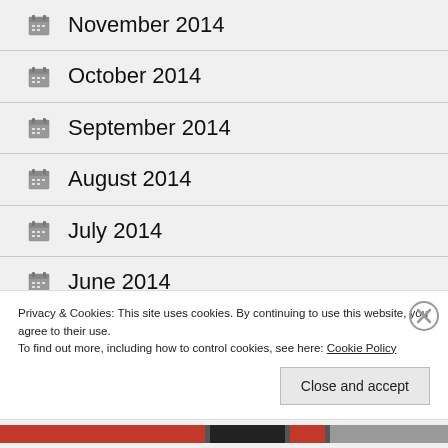November 2014
October 2014
September 2014
August 2014
July 2014
June 2014
May 2014
Advertisements
Privacy & Cookies: This site uses cookies. By continuing to use this website, you agree to their use.
To find out more, including how to control cookies, see here: Cookie Policy
Close and accept